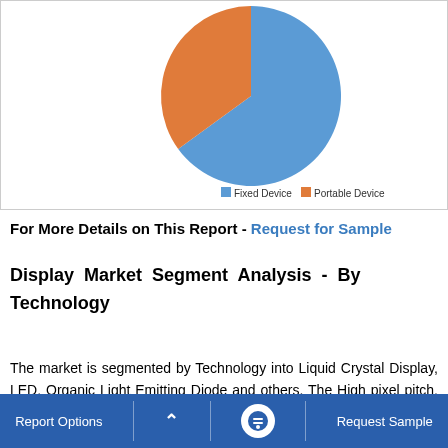[Figure (pie-chart): ]
For More Details on This Report - Request for Sample
Display Market Segment Analysis - By Technology
The market is segmented by Technology into Liquid Crystal Display, LED, Organic Light Emitting Diode and others. The High pixel pitch, brightness, enhanced
Report Options   ^   Request Sample